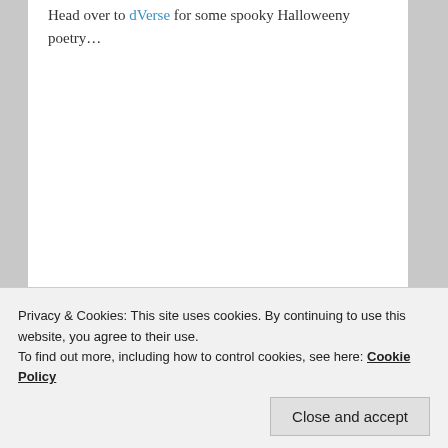Head over to dVerse for some spooky Halloweeny poetry…
Posted in dVerse | Tagged Crone, goddess, Halloween, Samhain | 17 Replies
Privacy & Cookies: This site uses cookies. By continuing to use this website, you agree to their use.
To find out more, including how to control cookies, see here: Cookie Policy
Close and accept
hands. You've thought about this restaurant, you've